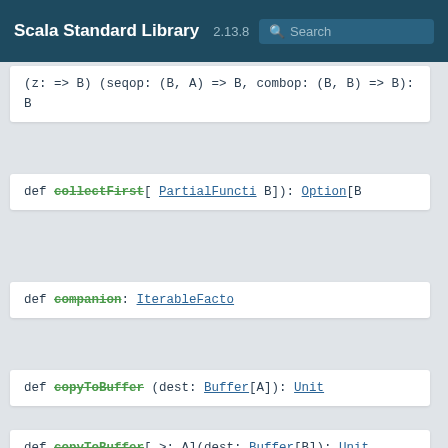Scala Standard Library 2.13.8 Search
def aggregate[B](z: => B)(seqop: (B, A) => B, combop: (B, B) => B): B
def collectFirst[PartialFuncti B]): Option[B
def companion: IterableFacto
def copyToBuffer(dest: Buffer[A]): Unit
def copyToBuffer[>: A](dest: Buffer[B]): Unit
def count(f: (A) => Boolean):